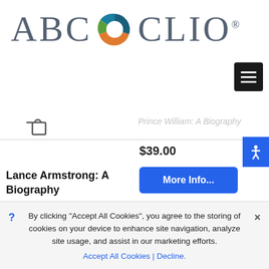[Figure (logo): ABC-CLIO logo with stylized circular icon between 'ABC' and 'CLIO' text, with registered trademark symbol]
[Figure (other): Hamburger menu button (three horizontal lines) in black square]
[Figure (other): Shopping cart icon]
Prince William: A Biography
$39.00
[Figure (other): Accessibility icon button in blue]
[Figure (other): More Info... blue button]
Lance Armstrong: A Biography
By clicking “Accept All Cookies”, you agree to the storing of cookies on your device to enhance site navigation, analyze site usage, and assist in our marketing efforts.
Accept All Cookies | Decline.